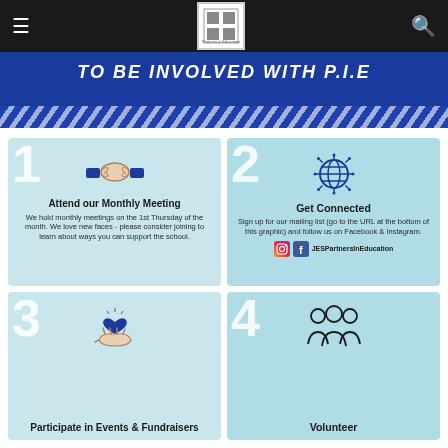[Figure (screenshot): Navigation bar with hamburger menu, school logo, and search icon on dark background]
TO BE INVOLVED WITH P.I.E
[Figure (infographic): Card 1: Handshake icon - Attend our Monthly Meeting. We hold monthly meetings on the 1st Thursday of the month. We love new faces - please consider joining to learn about ways you can support the school.]
[Figure (infographic): Card 2: Globe icon - Get Connected. Sign up for our mailing list (go to the URL at the bottom of this graphic) and follow us on Facebook & Instagram. JESPartnersInEducation]
[Figure (infographic): Card 3: Hand holding heart icon - Participate in Events & Fundraisers]
[Figure (infographic): Card 4: People/volunteer icon - Volunteer]